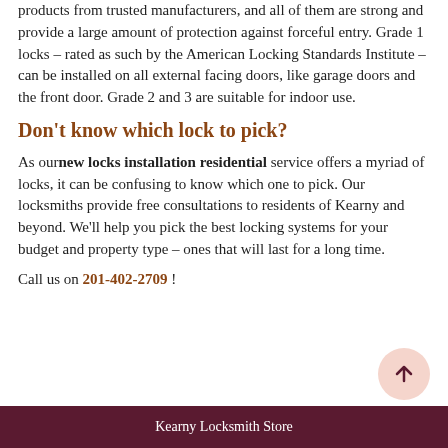products from trusted manufacturers, and all of them are strong and provide a large amount of protection against forceful entry. Grade 1 locks – rated as such by the American Locking Standards Institute – can be installed on all external facing doors, like garage doors and the front door. Grade 2 and 3 are suitable for indoor use.
Don't know which lock to pick?
As our new locks installation residential service offers a myriad of locks, it can be confusing to know which one to pick. Our locksmiths provide free consultations to residents of Kearny and beyond. We'll help you pick the best locking systems for your budget and property type – ones that will last for a long time.
Call us on 201-402-2709 !
Kearny Locksmith Store